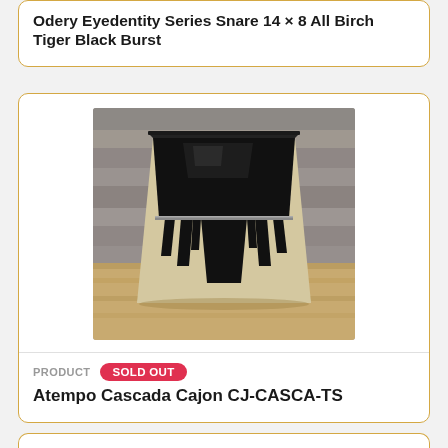Odery Eyedentity Series Snare 14 × 8 All Birch Tiger Black Burst
[Figure (photo): A cajon percussion instrument with a black and natural wood cascading piano-key pattern design, sitting on a wooden surface against a rustic wood plank background.]
PRODUCT  SOLD OUT
Atempo Cascada Cajon CJ-CASCA-TS